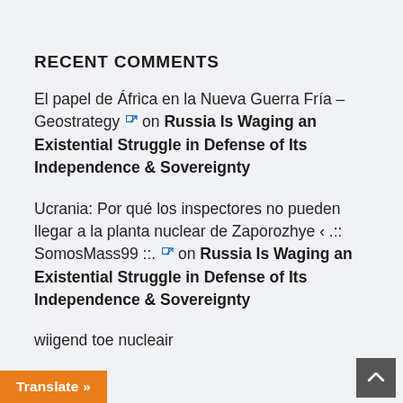RECENT COMMENTS
El papel de África en la Nueva Guerra Fría – Geostrategy ↗ on Russia Is Waging an Existential Struggle in Defense of Its Independence & Sovereignty
Ucrania: Por qué los inspectores no pueden llegar a la planta nuclear de Zaporozhye ‹ .:: SomosMass99 ::. ↗ on Russia Is Waging an Existential Struggle in Defense of Its Independence & Sovereignty
wiigend toe nucleair